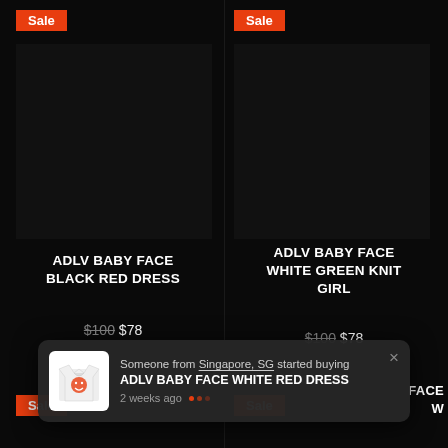[Figure (screenshot): Product listing page with dark background showing two ADLV products on sale]
Sale
Sale
[Figure (photo): Dark/black product image placeholder for ADLV Baby Face Black Red Dress]
ADLV BABY FACE BLACK RED DRESS
$100 $78
[Figure (photo): Dark/black product image placeholder for ADLV Baby Face White Green Knit Girl]
ADLV BABY FACE WHITE GREEN KNIT GIRL
$100 $78
Someone from Singapore, SG started buying ADLV BABY FACE WHITE RED DRESS 2 weeks ago